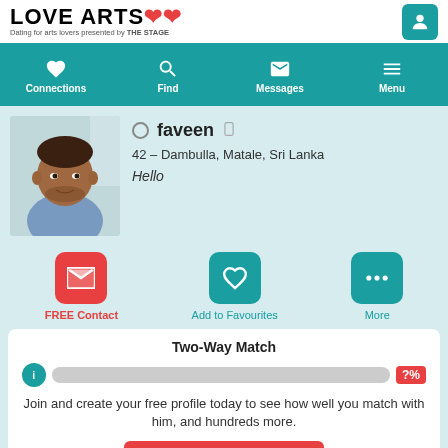LOVE ARTS Dating for arts lovers presented by THE STAGE
Connections | Find | Messages | Menu
[Figure (photo): Profile photo of a man, South Asian appearance, wearing a blue shirt, smiling slightly]
faveen
42 – Dambulla, Matale, Sri Lanka
Hello
FREE Contact | Add to Favourites | More
Two-Way Match
Join and create your free profile today to see how well you match with him, and hundreds more.
Join now
Online: More than 6 months ago